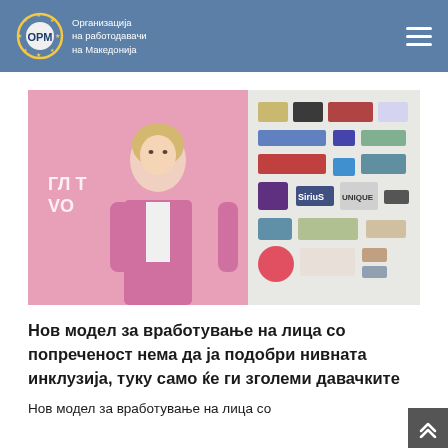Организација на работодавачи на Македонија
[Figure (photo): Woman in pink blazer standing in front of event banner with sponsor logos including SiriuS, UNIQUE and others]
Нов модел за вработување на лица со попреченост нема да ја подобри нивната инклузија, туку само ќе ги зголеми давачките
Нов модел за вработување на лица со